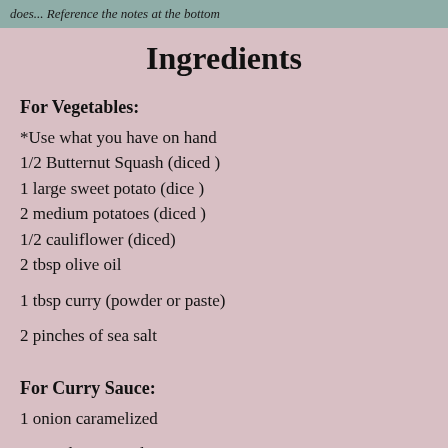does... Reference the notes at the bottom
Ingredients
For Vegetables:
*Use what you have on hand
1/2 Butternut Squash (diced )
1 large sweet potato (dice )
2 medium potatoes (diced )
1/2 cauliflower (diced)
2 tbsp olive oil
1 tbsp curry (powder or paste)
2 pinches of sea salt
For Curry Sauce:
1 onion caramelized
4-6 garlic, minced